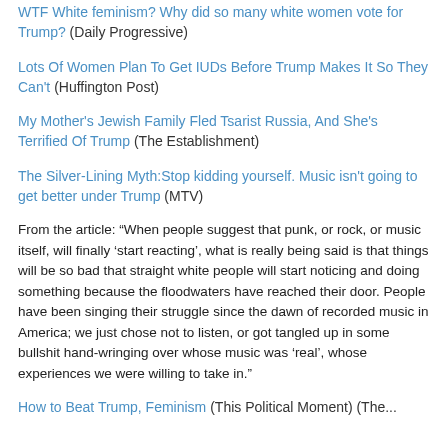WTF White feminism? Why did so many white women vote for Trump? (Daily Progressive)
Lots Of Women Plan To Get IUDs Before Trump Makes It So They Can't (Huffington Post)
My Mother's Jewish Family Fled Tsarist Russia, And She's Terrified Of Trump (The Establishment)
The Silver-Lining Myth:Stop kidding yourself. Music isn't going to get better under Trump (MTV)
From the article: “When people suggest that punk, or rock, or music itself, will finally ‘start reacting’, what is really being said is that things will be so bad that straight white people will start noticing and doing something because the floodwaters have reached their door. People have been singing their struggle since the dawn of recorded music in America; we just chose not to listen, or got tangled up in some bullshit hand-wringing over whose music was ‘real’, whose experiences we were willing to take in.”
How to Beat Trump, Feminism (This Political Moment) (The...